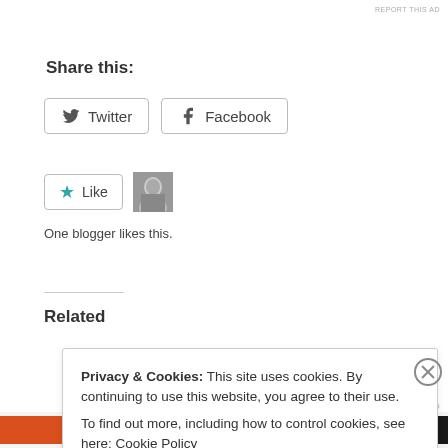REPORT THIS AD
Share this:
[Figure (other): Twitter share button and Facebook share button]
[Figure (other): Like button with blue star, and blogger avatar photo]
One blogger likes this.
Related
Privacy & Cookies: This site uses cookies. By continuing to use this website, you agree to their use. To find out more, including how to control cookies, see here: Cookie Policy
Close and accept
[Figure (other): Advertisement bar with orange background and DuckDuckGo text]
REPORT THIS AD